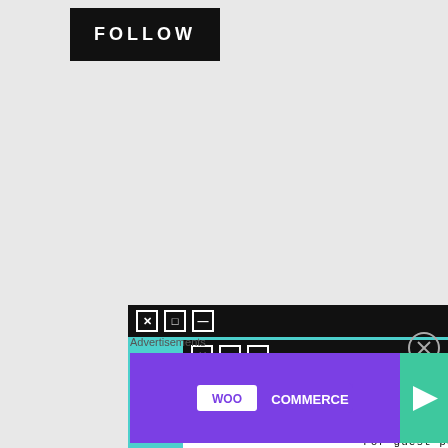FOLLOW
[Figure (illustration): WordPress follow button with cyan background reading 'Follow Gigantic Thought Bubble']
[Figure (screenshot): Two retro-style windows stacked showing 'EVERY STORY IS WORTH SHARING. For guest posting and collaboration click the...' with cyan background on back window and white on front]
Advertisements
[Figure (illustration): WooCommerce advertisement banner: 'How to start selling subscriptions online' with purple, teal, and white sections and decorative leaves]